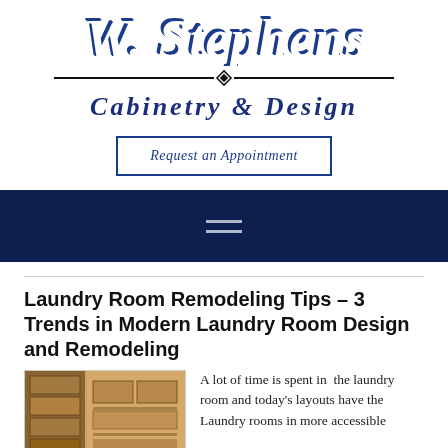[Figure (logo): W. Stephens Cabinetry & Design logo with script text and decorative divider]
Request an Appointment
[Figure (other): Dark navy navigation bar with hamburger menu icon]
Laundry Room Remodeling Tips – 3 Trends in Modern Laundry Room Design and Remodeling
[Figure (photo): Photo of laundry room with wooden cabinetry and shelving]
A lot of time is spent in the laundry room and today's layouts have the Laundry rooms in more accessible